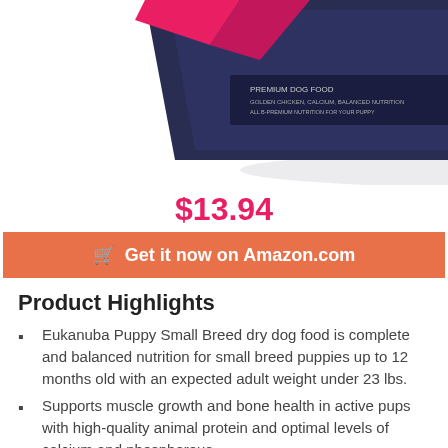[Figure (photo): Product package of Eukanuba Puppy Small Breed dog food, dark navy blue bag with pink/magenta accents, partially cropped at top]
$13.94
Get it now on Amazon.com
Product Highlights
Eukanuba Puppy Small Breed dry dog food is complete and balanced nutrition for small breed puppies up to 12 months old with an expected adult weight under 23 lbs.
Supports muscle growth and bone health in active pups with high-quality animal protein and optimal levels of calcium and phosphorous
High-quality chicken is the first ingredient for protein